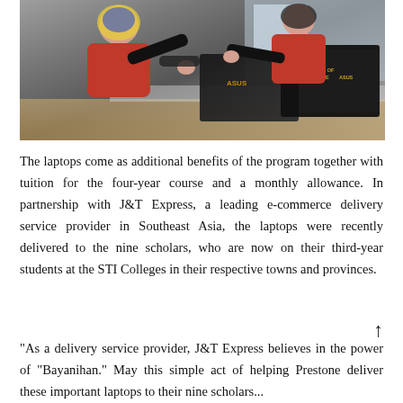[Figure (photo): Two people in red polo shirts handling ASUS laptop boxes labeled 'IN SEARCH OF INCREDIBLE' in what appears to be a sorting/delivery workspace.]
The laptops come as additional benefits of the program together with tuition for the four-year course and a monthly allowance. In partnership with J&T Express, a leading e-commerce delivery service provider in Southeast Asia, the laptops were recently delivered to the nine scholars, who are now on their third-year students at the STI Colleges in their respective towns and provinces.
↑
"As a delivery service provider, J&T Express believes in the power of "Bayanihan." May this simple act of helping Prestone deliver these important laptops to their nine scholars...